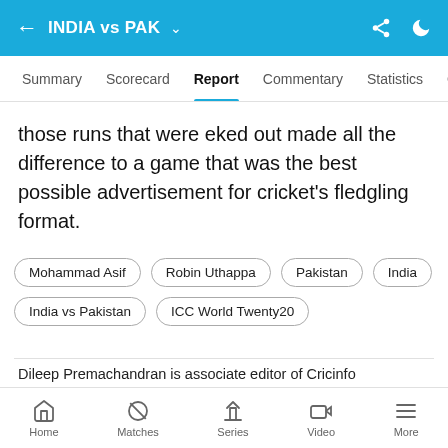INDIA vs PAK
Summary  Scorecard  Report  Commentary  Statistics  Over
those runs that were eked out made all the difference to a game that was the best possible advertisement for cricket's fledgling format.
Mohammad Asif
Robin Uthappa
Pakistan
India
India vs Pakistan
ICC World Twenty20
Dileep Premachandran is associate editor of Cricinfo
[Figure (photo): Advertisement banner with text EVERY MAN JACK and an image of a person outdoors]
Home  Matches  Series  Video  More